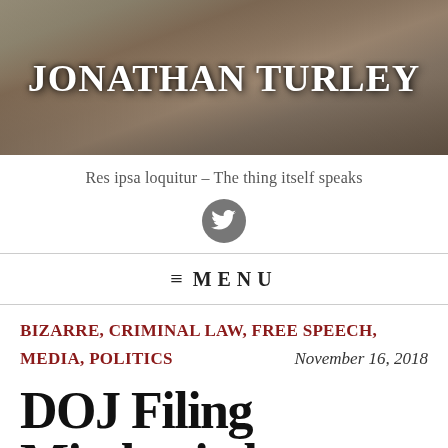[Figure (illustration): Header banner with historical painting of Founding Fathers as background, with site title 'JONATHAN TURLEY' overlaid in large white bold serif text]
Res ipsa loquitur – The thing itself speaks
[Figure (logo): Twitter bird icon in a dark grey circle button]
≡ MENU
BIZARRE, CRIMINAL LAW, FREE SPEECH, MEDIA, POLITICS   November 16, 2018
DOJ Filing Mischaracteri...